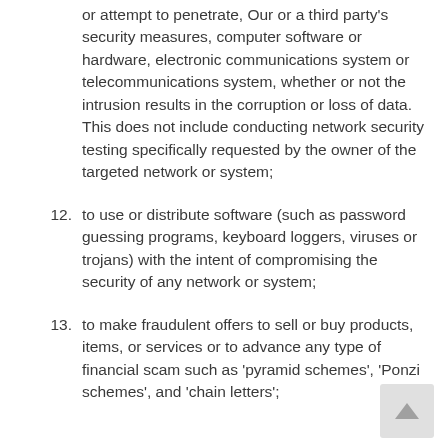or attempt to penetrate, Our or a third party's security measures, computer software or hardware, electronic communications system or telecommunications system, whether or not the intrusion results in the corruption or loss of data. This does not include conducting network security testing specifically requested by the owner of the targeted network or system;
12. to use or distribute software (such as password guessing programs, keyboard loggers, viruses or trojans) with the intent of compromising the security of any network or system;
13. to make fraudulent offers to sell or buy products, items, or services or to advance any type of financial scam such as 'pyramid schemes', 'Ponzi schemes', and 'chain letters';